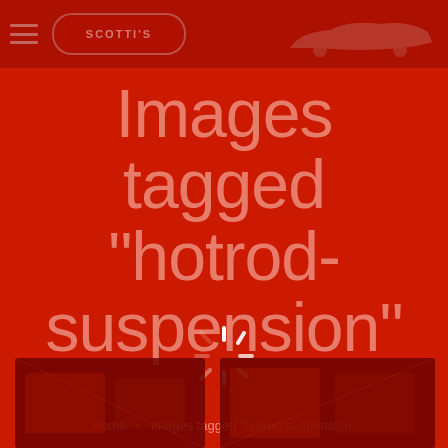[Figure (screenshot): Website header bar with hamburger menu icon, oval logo with stylized text, and a car silhouette on the right side, all rendered on a dark red background]
Images tagged "hotrod-suspension"
[Figure (infographic): Loading spinner with white radial dashes arranged in a circle, indicating a page loading state, centered over the title text]
Home » Images tagged "hotrod-suspension"
[Figure (photo): Two partially visible thumbnail images at the bottom of the page showing hotrod suspension related imagery, with red tint overlay]